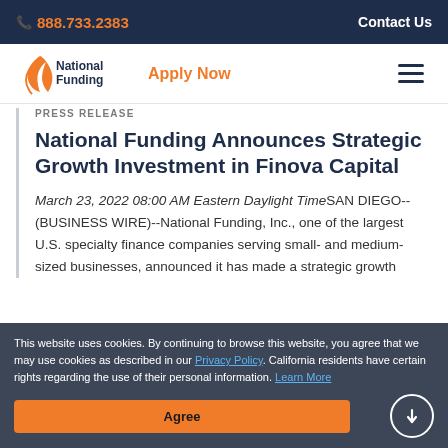📞 888.733.2383  Contact Us
[Figure (logo): National Funding logo with orange leaf/swoosh icon and bold dark blue text 'National Funding', alongside orange 'Apply Now' text and hamburger menu icon]
PRESS RELEASE
National Funding Announces Strategic Growth Investment in Finova Capital
March 23, 2022 08:00 AM Eastern Daylight TimeSAN DIEGO--(BUSINESS WIRE)--National Funding, Inc., one of the largest U.S. specialty finance companies serving small- and medium-sized businesses, announced it has made a strategic growth
This website uses cookies. By continuing to browse this website, you agree that we may use cookies as described in our Privacy Policy. California residents have certain rights regarding the use of their personal information. Learn More
Agree